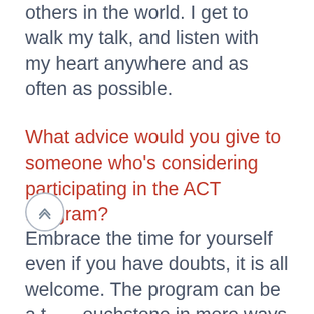others in the world. I get to walk my talk, and listen with my heart anywhere and as often as possible.
What advice would you give to someone who's considering participating in the ACT Program?
Embrace the time for yourself even if you have doubts, it is all welcome. The program can be a touchstone in more ways than may immediately be apparent to you. If you feel the tug, follow it.